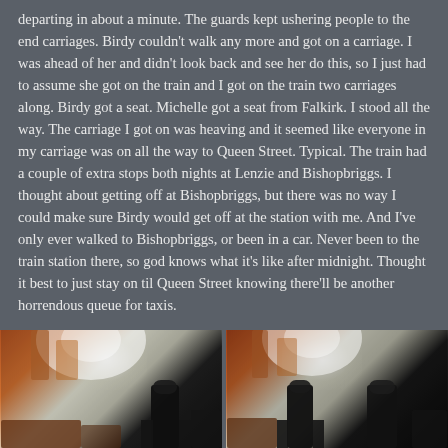departing in about a minute. The guards kept ushering people to the end carriages. Birdy couldn't walk any more and got on a carriage. I was ahead of her and didn't look back and see her do this, so I just had to assume she got on the train and I got on the train two carriages along. Birdy got a seat. Michelle got a seat from Falkirk. I stood all the way. The carriage I got on was heaving and it seemed like everyone in my carriage was on all the way to Queen Street. Typical. The train had a couple of extra stops both nights at Lenzie and Bishopbriggs. I thought about getting off at Bishopbriggs, but there was no way I could make sure Birdy would get off at the station with me. And I've only ever walked to Bishopbriggs, or been in a car. Never been to the train station there, so god knows what it's like after midnight. Thought it best to just stay on til Queen Street knowing there'll be another horrendous queue for taxis.
[Figure (photo): Concert photo showing performer on stage with bright stage lighting, left image of two side-by-side concert photos]
[Figure (photo): Concert photo showing performer on stage with bright stage lighting, right image of two side-by-side concert photos]